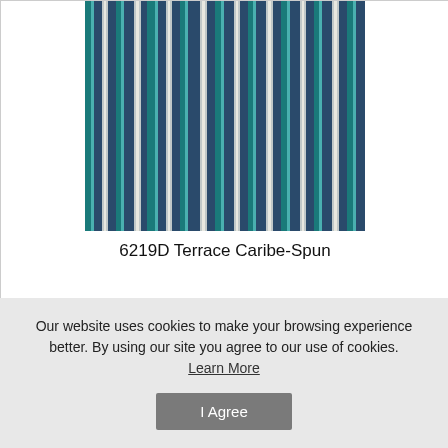[Figure (photo): Striped fabric swatch showing vertical stripes in teal, navy blue, and grey/white colors - product 6219D Terrace Caribe-Spun]
6219D Terrace Caribe-Spun
[Figure (photo): Striped fabric swatch showing vertical stripes in olive green, tan/khaki, yellow, and dark green colors]
Our website uses cookies to make your browsing experience better. By using our site you agree to our use of cookies.
Learn More
I Agree